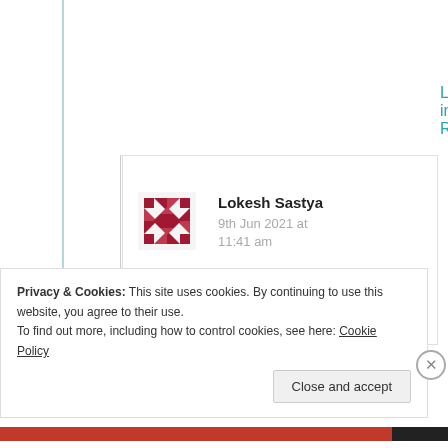Log in to Reply
[Figure (illustration): Red geometric quilt-pattern avatar icon for user Lokesh Sastya]
Lokesh Sastya
9th Jun 2021 at 11:41 am
Honestly, I'm saying, your poem made my day.
Privacy & Cookies: This site uses cookies. By continuing to use this website, you agree to their use. To find out more, including how to control cookies, see here: Cookie Policy
Close and accept